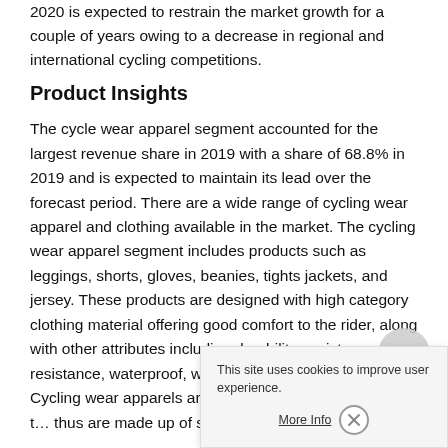2020 is expected to restrain the market growth for a couple of years owing to a decrease in regional and international cycling competitions.
Product Insights
The cycle wear apparel segment accounted for the largest revenue share in 2019 with a share of 68.8% in 2019 and is expected to maintain its lead over the forecast period. There are a wide range of cycling wear apparel and clothing available in the market. The cycling wear apparel segment includes products such as leggings, shorts, gloves, beanies, tights jackets, and jersey. These products are designed with high category clothing material offering good comfort to the rider, along with other attributes including durability, moisture resistance, waterproof, windproof, and high visibility. Cycling wear apparels are designed to fit and support t… thus are made up of stretcha… comfort.